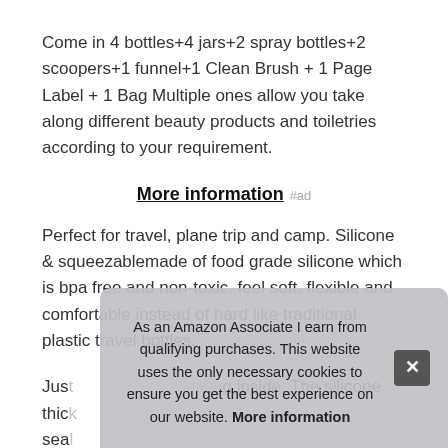Come in 4 bottles+4 jars+2 spray bottles+2 scoopers+1 funnel+1 Clean Brush + 1 Page Label + 1 Bag Multiple ones allow you take along different beauty products and toiletries according to your requirement.
More information #ad
Perfect for travel, plane trip and camp. Silicone & squeezablemade of food grade silicone which is bpa free and non-toxic, feel soft, flexible and comfortable instead of hard like traditional plastic travel bottles.
Just [partially obscured] fitting inside. The silicone thick [partially obscured] sea [partially obscured] sett [partially obscured] cas [partially obscured] and containers are very secure. Size is perfect for the security
As an Amazon Associate I earn from qualifying purchases. This website uses the only necessary cookies to ensure you get the best experience on our website. More information